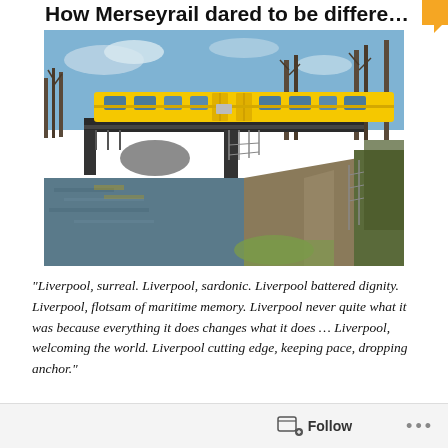How Merseyrail dared to be different
[Figure (photo): A yellow Merseyrail train crossing a bridge over a canal, with bare trees and a towpath visible, photographed in daylight.]
“Liverpool, surreal. Liverpool, sardonic. Liverpool battered dignity. Liverpool, flotsam of maritime memory. Liverpool never quite what it was because everything it does changes what it does … Liverpool, welcoming the world. Liverpool cutting edge, keeping pace, dropping anchor.”
Follow